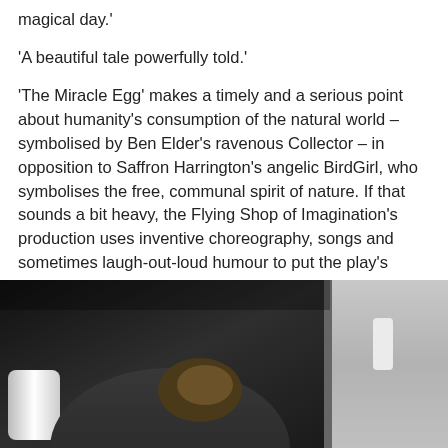magical day.'
'A beautiful tale powerfully told.'
'The Miracle Egg' makes a timely and a serious point about humanity's consumption of the natural world – symbolised by Ben Elder's ravenous Collector – in opposition to Saffron Harrington's angelic BirdGirl, who symbolises the free, communal spirit of nature. If that sounds a bit heavy, the Flying Shop of Imagination's production uses inventive choreography, songs and sometimes laugh-out-loud humour to put the play's message across. In the performance I saw, the children in the audience were absolutely transfixed, so I'd certainly like to see 'The Miracle Egg' taken to the next level with a full production and regional tour. Recommended.'
[Figure (photo): Dark theatrical performance photo showing a figure with light-colored hair in a dark stage setting, with a white cylindrical object on the left and a light-colored background/wall section on the right]